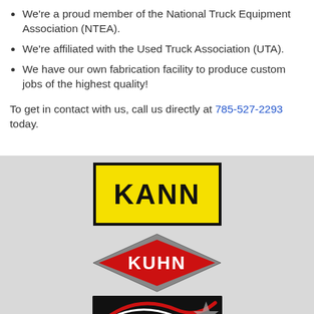We're a proud member of the National Truck Equipment Association (NTEA).
We're affiliated with the Used Truck Association (UTA).
We have our own fabrication facility to produce custom jobs of the highest quality!
To get in contact with us, call us directly at 785-527-2293 today.
[Figure (logo): KANN logo — yellow rectangle with black border and black bold text 'KANN']
[Figure (logo): KUHN logo — red diamond shape with silver outline and white bold text 'KUHN']
[Figure (logo): Partial third logo — black background with white text, partially cropped]